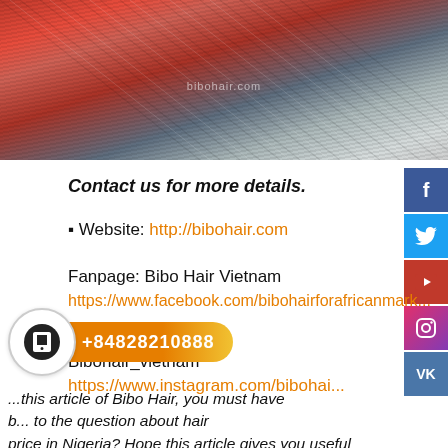[Figure (photo): Photo of colorful hair extensions in red/pink and grey/white tones with bibohair.com watermark]
Contact us for more details.
🔹 Website: http://bibohair.com
Fanpage: Bibo Hair Vietnam https://www.facebook.com/bibohairforafricanmark...
Instagram: Bibohair_vietnam https://www.instagram.com/bibohai...
...this article of Bibo Hair, you must have b... to the question about hair price in Nigeria? Hope this article gives you useful